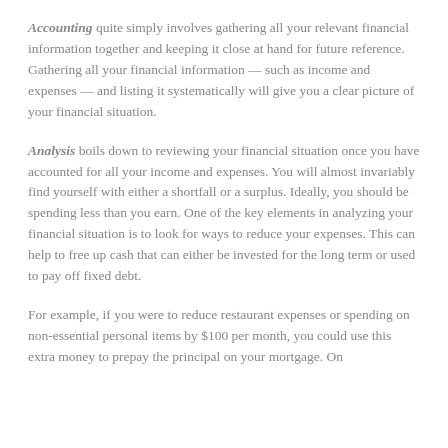Accounting quite simply involves gathering all your relevant financial information together and keeping it close at hand for future reference. Gathering all your financial information — such as income and expenses — and listing it systematically will give you a clear picture of your financial situation.
Analysis boils down to reviewing your financial situation once you have accounted for all your income and expenses. You will almost invariably find yourself with either a shortfall or a surplus. Ideally, you should be spending less than you earn. One of the key elements in analyzing your financial situation is to look for ways to reduce your expenses. This can help to free up cash that can either be invested for the long term or used to pay off fixed debt.
For example, if you were to reduce restaurant expenses or spending on non-essential personal items by $100 per month, you could use this extra money to prepay the principal on your mortgage. On